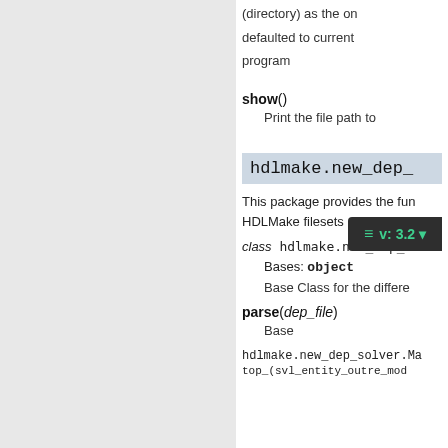(directory) as the on defaulted to current program
show()
Print the file path to
hdlmake.new_dep_
This package provides the fun HDLMake filesets
class hdlmake.new_dep_solv
Bases: object
Base Class for the differe
parse(dep_file)
Base interfa
hdlmake.new_dep_solver.Ma
top_(svl_entity_outre_mod